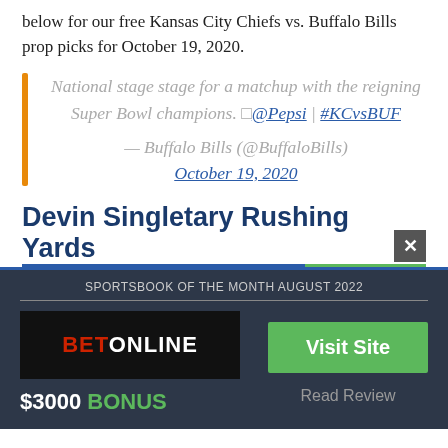below for our free Kansas City Chiefs vs. Buffalo Bills prop picks for October 19, 2020.
National stage stage for a matchup with the reigning Super Bowl champions. □@Pepsi | #KCvsBUF — Buffalo Bills (@BuffaloBills) October 19, 2020
Devin Singletary Rushing Yards
SPORTSBOOK OF THE MONTH AUGUST 2022
[Figure (logo): BetOnline logo on black background]
[Figure (other): Visit Site green button]
$3000 BONUS
Read Review